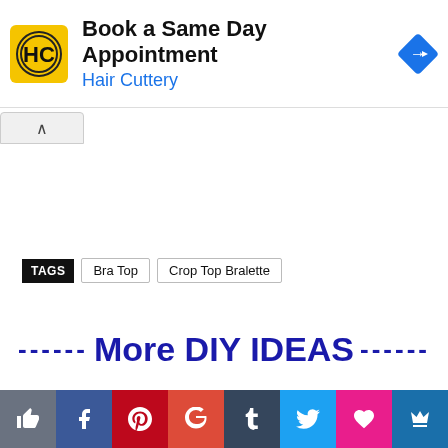[Figure (screenshot): Hair Cuttery advertisement banner with logo, title 'Book a Same Day Appointment', subtitle 'Hair Cuttery', and a blue navigation arrow icon. Ad control icons (play/close) on the left side.]
TAGS   Bra Top   Crop Top Bralette
------ More DIY IDEAS ------
[Figure (screenshot): Social sharing bar with icons: thumbs up (gray), Facebook (blue), Pinterest (red), Google+ (red-orange), Tumblr (dark blue), Twitter (light blue), heart (pink), crown (blue)]